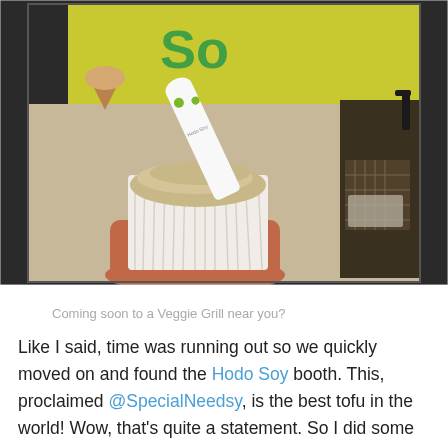[Figure (photo): A hand holding a white ribbed cup filled with creamy beige frozen dessert/tofu soft serve, with a white flat spoon sticking out. In the background is a yellow sign with text partially visible reading 'So' and a waffle cone illustration, and a black shelving unit with packages. The photo has a slight border/frame.]
Coming soon to a Veggie Grill near you?
Like I said, time was running out so we quickly moved on and found the Hodo Soy booth. This, proclaimed @SpecialNeedsy, is the best tofu in the world! Wow, that’s quite a statement. So I did some sampling and you know what? It was pretty dang good! If Hodo Soy sounds